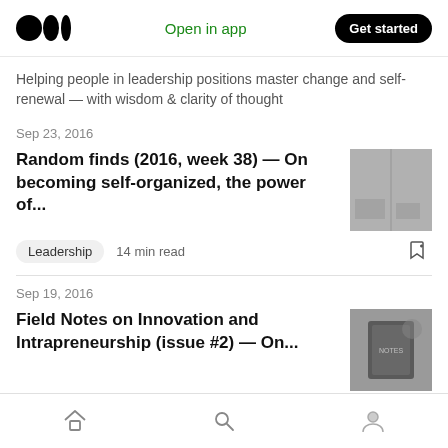Medium — Open in app — Get started
Helping people in leadership positions master change and self-renewal — with wisdom & clarity of thought
Sep 23, 2016
Random finds (2016, week 38) — On becoming self-organized, the power of...
[Figure (photo): Black and white photo of chairs or outdoor scene]
Leadership   14 min read
Sep 19, 2016
Field Notes on Innovation and Intrapreneurship (issue #2) — On...
[Figure (photo): Black and white photo of a notebook with keys]
Innovation   9 min read
Home | Search | Profile